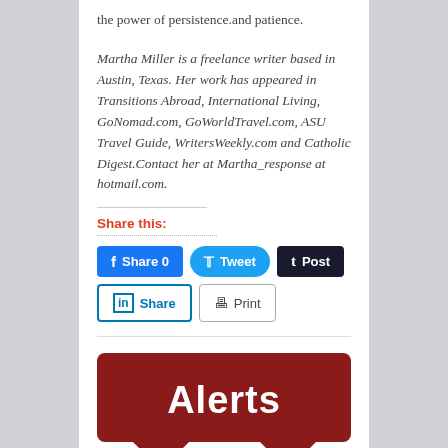the power of persistence.and patience.
Martha Miller is a freelance writer based in Austin, Texas. Her work has appeared in Transitions Abroad, International Living, GoNomad.com, GoWorldTravel.com, ASU Travel Guide, WritersWeekly.com and Catholic Digest.Contact her at Martha_response at hotmail.com.
Share this:
[Figure (infographic): Social share buttons: Facebook Share 0, Twitter Tweet, Tumblr Post, LinkedIn Share, Print]
[Figure (infographic): Dark red rounded rectangle banner with white bold text 'Alerts' and two downward-pointing dark red arrows below]